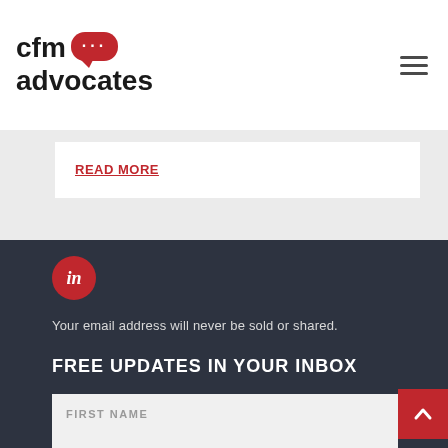cfm advocates
READ MORE
[Figure (logo): LinkedIn icon: red circle with white 'in' text]
Your email address will never be sold or shared.
FREE UPDATES IN YOUR INBOX
FIRST NAME
LAST NAME